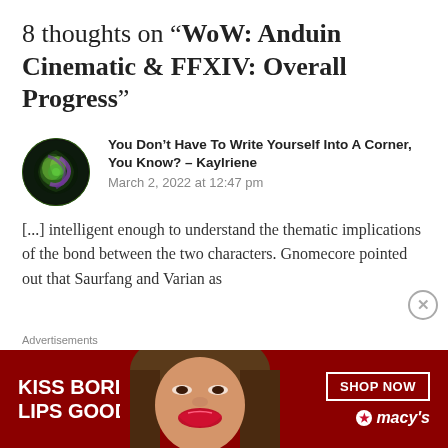8 thoughts on “WoW: Anduin Cinematic & FFXIV: Overall Progress”
You Don’t Have To Write Yourself Into A Corner, You Know? – Kaylriene
March 2, 2022 at 12:47 pm
[...] intelligent enough to understand the thematic implications of the bond between the two characters. Gnomecore pointed out that Saurfang and Varian as
Advertisements
[Figure (photo): Advertisement banner for Macy's: 'KISS BORING LIPS GOODBYE' with SHOP NOW button and Macy's star logo, red background with woman's face showing lips]